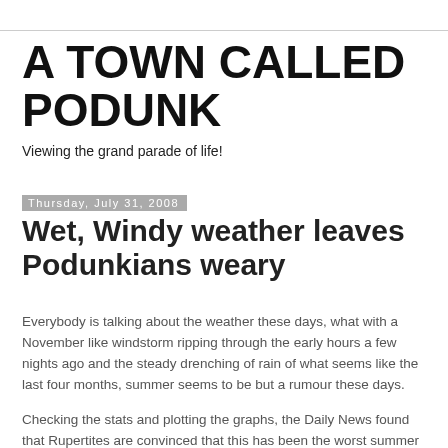A TOWN CALLED PODUNK
Viewing the grand parade of life!
Thursday, July 31, 2008
Wet, Windy weather leaves Podunkians weary
Everybody is talking about the weather these days, what with a November like windstorm ripping through the early hours a few nights ago and the steady drenching of rain of what seems like the last four months, summer seems to be but a rumour these days.
Checking the stats and plotting the graphs, the Daily News found that Rupertites are convinced that this has been the worst summer in recent years, they outlined their findings as